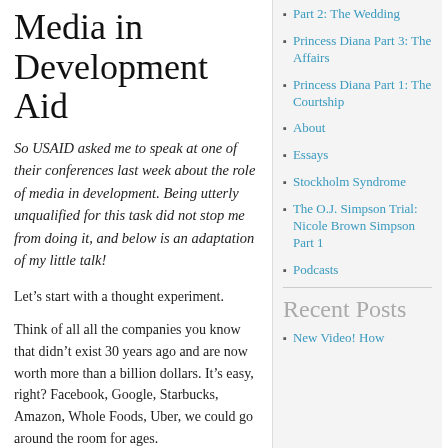Media in Development Aid
So USAID asked me to speak at one of their conferences last week about the role of media in development. Being utterly unqualified for this task did not stop me from doing it, and below is an adaptation of my little talk!
Let’s start with a thought experiment.
Think of all all the companies you know that didn’t exist 30 years ago and are now worth more than a billion dollars. It’s easy, right? Facebook, Google, Starbucks, Amazon, Whole Foods, Uber, we could go around the room for ages.
Now think of all the development NGOs or national nonprofits that didn’t exist 30
Part 2: The Wedding
Princess Diana Part 3: The Affairs
Princess Diana Part 1: The Courtship
About
Essays
Stockholm Syndrome
The O.J. Simpson Trial: Nicole Brown Simpson Part 1
Podcasts
Recent Posts
New Video! How